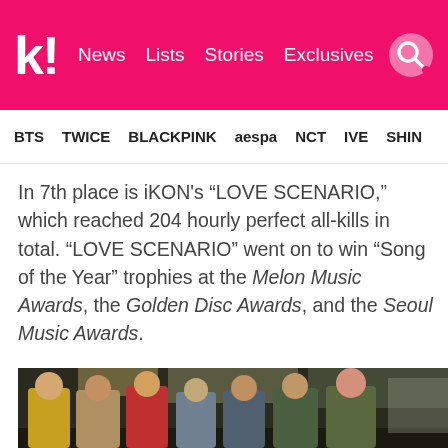k! News Lists Stories Exclusives
BTS TWICE BLACKPINK aespa NCT IVE SHIN
In 7th place is iKON's “LOVE SCENARIO,” which reached 204 hourly perfect all-kills in total. “LOVE SCENARIO” went on to win “Song of the Year” trophies at the Melon Music Awards, the Golden Disc Awards, and the Seoul Music Awards.
[Figure (photo): Group photo of iKON members posing together in colorful outfits against an indoor background]